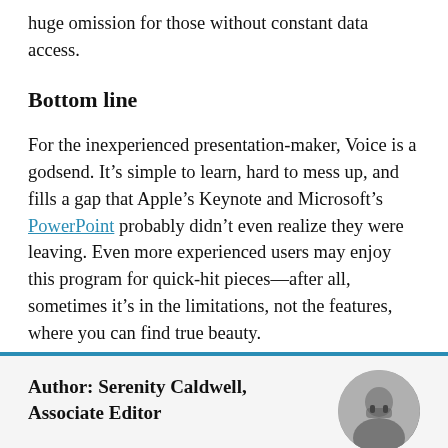huge omission for those without constant data access.
Bottom line
For the inexperienced presentation-maker, Voice is a godsend. It’s simple to learn, hard to mess up, and fills a gap that Apple’s Keynote and Microsoft’s PowerPoint probably didn’t even realize they were leaving. Even more experienced users may enjoy this program for quick-hit pieces—after all, sometimes it’s in the limitations, not the features, where you can find true beauty.
Author: Serenity Caldwell, Associate Editor